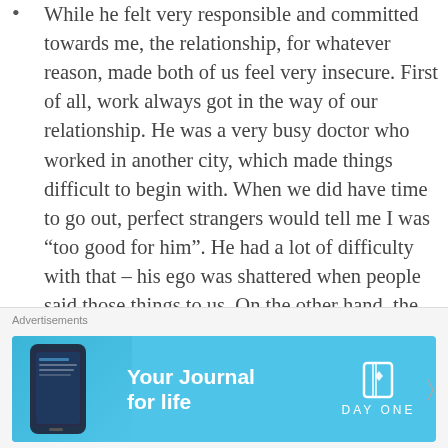While he felt very responsible and committed towards me, the relationship, for whatever reason, made both of us feel very insecure. First of all, work always got in the way of our relationship. He was a very busy doctor who worked in another city, which made things difficult to begin with. When we did have time to go out, perfect strangers would tell me I was “too good for him”. He had a lot of difficulty with that – his ego was shattered when people said those things to us. On the other hand, the Moon in square aspect to the Composite Saturn, which I felt very strongly. I felt ignored, neglected, and cold in this relationship because he always seemed to put work ahead of me. To top things
Advertisements
[Figure (infographic): Advertisement banner for DayOne app - Your Journal for life, with a phone image on the left and DayOne logo on the right, light blue background]